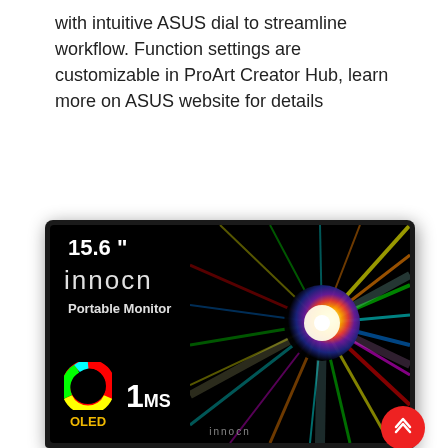with intuitive ASUS dial to streamline workflow. Function settings are customizable in ProArt Creator Hub, learn more on ASUS website for details
[Figure (photo): INNOCN 15.6 inch portable OLED monitor product image showing the monitor screen with colorful starburst graphic, displaying the brand name INNOCN, '15.6"', 'Portable Monitor', OLED color wheel, and '1MS' response time text. A red scroll-to-top button is visible in the bottom right corner.]